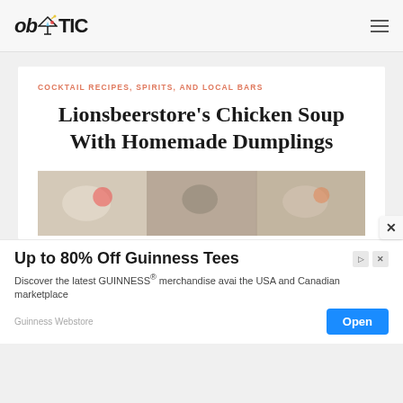ob YTIC
COCKTAIL RECIPES, SPIRITS, AND LOCAL BARS
Lionsbeerstore's Chicken Soup With Homemade Dumplings
[Figure (photo): Food photo showing chicken soup with homemade dumplings ingredients]
Up to 80% Off Guinness Tees
Discover the latest GUINNESS® merchandise avai the USA and Canadian marketplace
Guinness Webstore